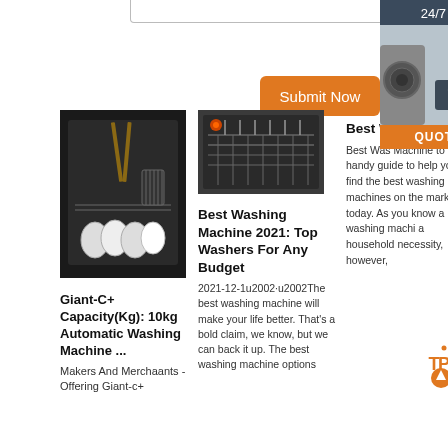[Figure (screenshot): Bottom edge of a textarea input box]
Submit Now
[Figure (photo): Dishwasher with dishes and utensils inside]
Giant-C+ Capacity(Kg): 10kg Automatic Washing Machine ...
Makers And Merchaants - Offering Giant-c+
[Figure (photo): Industrial washing machine interior]
Best Washing Machine 2021: Top Washers For Any Budget
2021-12-1u2002·u2002The best washing machine will make your life better. That's a bold claim, we know, but we can back it up. The best washing machine options
[Figure (infographic): Ad box: 24/7 Online customer service rep with Click here for free chat and QUOTATION button; partial photo of washing machine]
Best Washing Machine ...
Best Washing Machine ... to our handy guide to help you find the best washing machines on the market today. As you know a washing machine a household necessity, however,